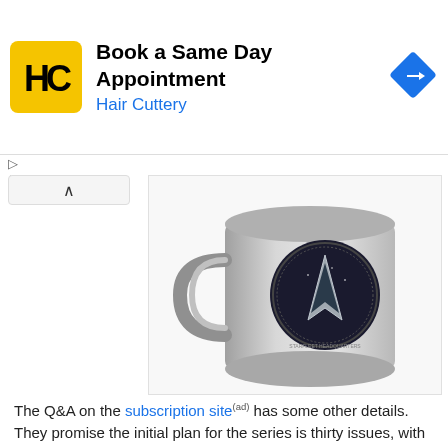[Figure (screenshot): Advertisement banner for Hair Cuttery: 'Book a Same Day Appointment' with Hair Cuttery logo (yellow square with HC letters) and blue navigation arrow icon on right]
[Figure (photo): Stainless steel camp-style mug with Star Trek Starfleet Command circular badge/logo on the side]
The Q&A on the subscription site(ad) has some other details. They promise the initial plan for the series is thirty issues, with the probability of extending it so long as new productions keep delivering new ships. They also mention plans for special issues, which may include additional